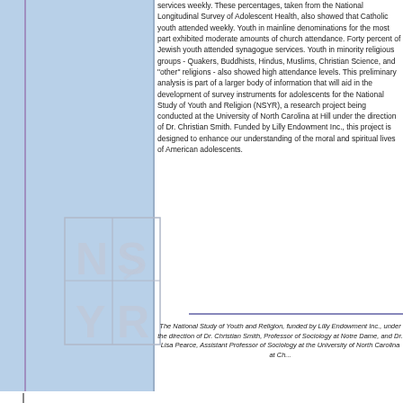services weekly. These percentages, taken from the National Longitudinal Survey of Adolescent Health, also showed that Catholic youth attended weekly. Youth in mainline denominations for the most part exhibited moderate amounts of church attendance. Forty percent of Jewish youth attended synagogue services. Youth in minority religious groups - Quakers, Buddhists, Hindus, Muslims, Christian Science, and "other" religions - also showed high attendance levels. This preliminary analysis is part of a larger body of information that will aid in the development of survey instruments for adolescents for the National Study of Youth and Religion (NSYR), a research project being conducted at the University of North Carolina at Hill under the direction of Dr. Christian Smith. Funded by Lilly Endowment Inc., this project is designed to enhance our understanding of the moral and spiritual lives of American adolescents.
[Figure (logo): NSYR logo - large grey grid letters N, S, Y, R arranged in a 2x2 grid with arrow symbol]
The National Study of Youth and Religion, funded by Lilly Endowment Inc., under the direction of Dr. Christian Smith, Professor of Sociology at Notre Dame, and Dr. Lisa Pearce, Assistant Professor of Sociology at the University of North Carolina at Ch...